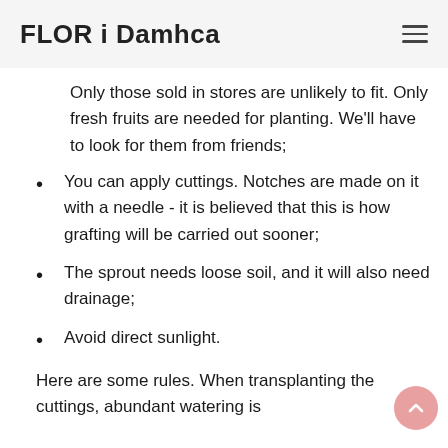FLOR i Damhca
Only those sold in stores are unlikely to fit. Only fresh fruits are needed for planting. We'll have to look for them from friends;
You can apply cuttings. Notches are made on it with a needle - it is believed that this is how grafting will be carried out sooner;
The sprout needs loose soil, and it will also need drainage;
Avoid direct sunlight.
Here are some rules. When transplanting the cuttings, abundant watering is